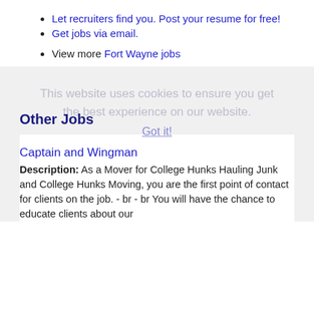Let recruiters find you. Post your resume for free!
Get jobs via email.
View more Fort Wayne jobs
This website uses cookies to ensure you get the best experience on our website.
Got it!
Other Jobs
Captain and Wingman
Description: As a Mover for College Hunks Hauling Junk and College Hunks Moving, you are the first point of contact for clients on the job. - br - br You will have the chance to educate clients about our operations (more...)